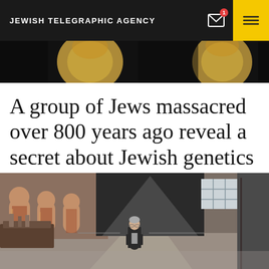JEWISH TELEGRAPHIC AGENCY
[Figure (photo): Dark background with partial golden circular shapes visible at the top, appears to be candlesticks or menorahs in low light]
A group of Jews massacred over 800 years ago reveal a secret about Jewish genetics
[Figure (photo): Interior of a museum with arched brick walls, display cases, and a man in a dark suit standing in the center of the large hall space]